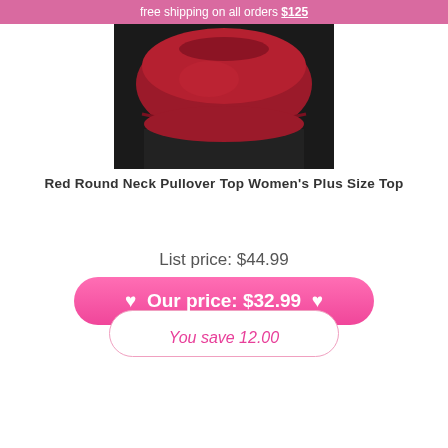free shipping on all orders $125
[Figure (photo): Red ruffled pullover top on a dark background, showing the top portion of a women's plus size garment with a rounded neckline and layered ruffle detail in crimson/red color.]
Red Round Neck Pullover Top Women's Plus Size Top
List price: $44.99
♥  Our price: $32.99  ♥
You save 12.00